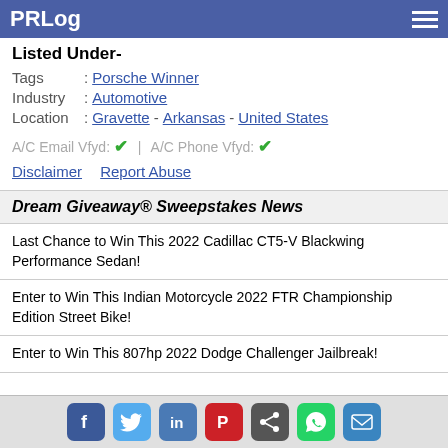PRLog
Listed Under-
Tags : Porsche Winner
Industry : Automotive
Location : Gravette - Arkansas - United States
A/C Email Vfyd: ✔ | A/C Phone Vfyd: ✔
Disclaimer   Report Abuse
Dream Giveaway® Sweepstakes News
Last Chance to Win This 2022 Cadillac CT5-V Blackwing Performance Sedan!
Enter to Win This Indian Motorcycle 2022 FTR Championship Edition Street Bike!
Enter to Win This 807hp 2022 Dodge Challenger Jailbreak!
Social share icons: Facebook, Twitter, LinkedIn, Pinterest, Share, WhatsApp, Email